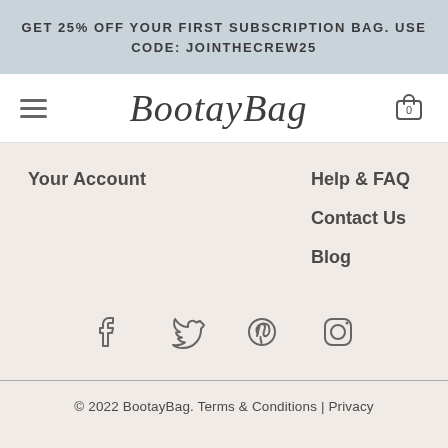GET 25% OFF YOUR FIRST SUBSCRIPTION BAG. USE CODE: JOINTHECREW25
[Figure (logo): BootayBag logo in cursive script with hamburger menu and cart icon]
Your Account
Help & FAQ
Contact Us
Blog
[Figure (infographic): Social media icons: Facebook, Twitter, Pinterest, Instagram]
© 2022 BootayBag. Terms & Conditions | Privacy